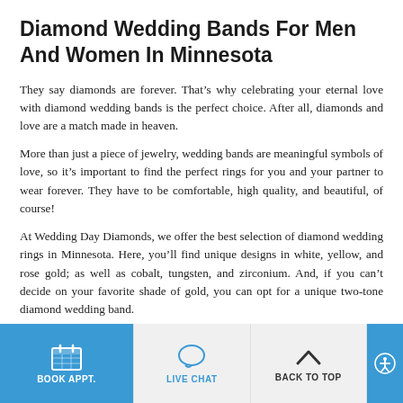Diamond Wedding Bands For Men And Women In Minnesota
They say diamonds are forever. That’s why celebrating your eternal love with diamond wedding bands is the perfect choice. After all, diamonds and love are a match made in heaven.
More than just a piece of jewelry, wedding bands are meaningful symbols of love, so it’s important to find the perfect rings for you and your partner to wear forever. They have to be comfortable, high quality, and beautiful, of course!
At Wedding Day Diamonds, we offer the best selection of diamond wedding rings in Minnesota. Here, you’ll find unique designs in white, yellow, and rose gold; as well as cobalt, tungsten, and zirconium. And, if you can’t decide on your favorite shade of gold, you can opt for a unique two-tone diamond wedding band.
BOOK APPT.   LIVE CHAT   BACK TO TOP